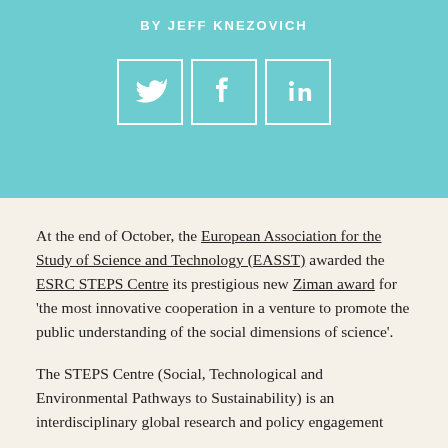BY JEFF KNEZOVICH
[Figure (infographic): Three social media icon buttons (Twitter bird, Facebook f, LinkedIn in) in white outline boxes on teal background]
At the end of October, the European Association for the Study of Science and Technology (EASST) awarded the ESRC STEPS Centre its prestigious new Ziman award for ‘the most innovative cooperation in a venture to promote the public understanding of the social dimensions of science’.
The STEPS Centre (Social, Technological and Environmental Pathways to Sustainability) is an interdisciplinary global research and policy engagement